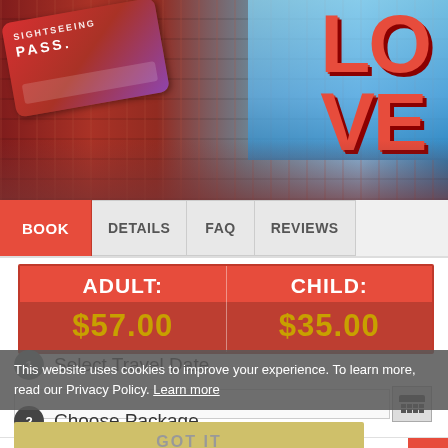[Figure (photo): Hero banner showing a travel sightseeing pass card on the left and the LOVE sculpture in Philadelphia on the right, with city buildings in background]
BOOK | DETAILS | FAQ | REVIEWS
| ADULT: | CHILD: |
| --- | --- |
| $57.00 | $35.00 |
This website uses cookies to improve your experience. To learn more, read our Privacy Policy. Learn more
1  Select Travel Date
GOT IT
2  Choose Package
The Sightseeing FlexPass Pick 2